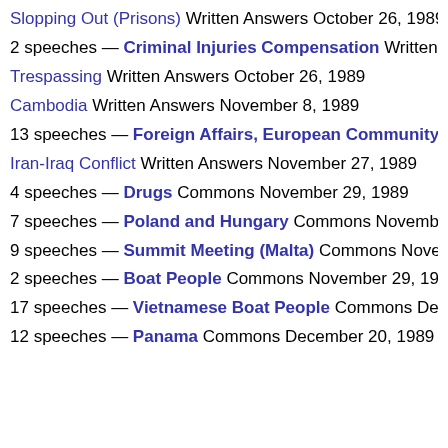Slopping Out (Prisons) Written Answers October 26, 1989
2 speeches — Criminal Injuries Compensation Written Answ…
Trespassing Written Answers October 26, 1989
Cambodia Written Answers November 8, 1989
13 speeches — Foreign Affairs, European Community and…
Iran-Iraq Conflict Written Answers November 27, 1989
4 speeches — Drugs Commons November 29, 1989
7 speeches — Poland and Hungary Commons November 29…
9 speeches — Summit Meeting (Malta) Commons November…
2 speeches — Boat People Commons November 29, 1989
17 speeches — Vietnamese Boat People Commons Decemb…
12 speeches — Panama Commons December 20, 1989